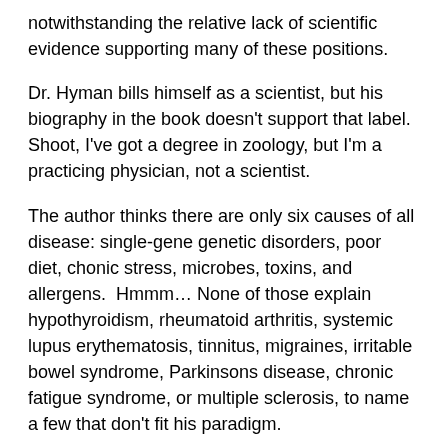notwithstanding the relative lack of scientific evidence supporting many of these positions.
Dr. Hyman bills himself as a scientist, but his biography in the book doesn't support that label.  Shoot, I've got a degree in zoology, but I'm a practicing physician, not a scientist.
The author thinks there are only six causes of all disease: single-gene genetic disorders, poor diet, chonic stress, microbes, toxins, and allergens.  Hmmm… None of those explain hypothyroidism, rheumatoid arthritis, systemic lupus erythematosis, tinnitus, migraines, irritable bowel syndrome, Parkinsons disease, chronic fatigue syndrome, or multiple sclerosis, to name a few that don't fit his paradigm.
Dr. Hyman makes a number of claims that are just plain